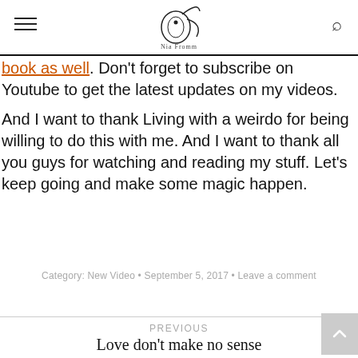Nia Fromm (blog logo)
book as well. Don't forget to subscribe on Youtube to get the latest updates on my videos.
And I want to thank Living with a weirdo for being willing to do this with me. And I want to thank all you guys for watching and reading my stuff. Let's keep going and make some magic happen.
Category: New Video • September 5, 2017 • Leave a comment
PREVIOUS
Love don't make no sense